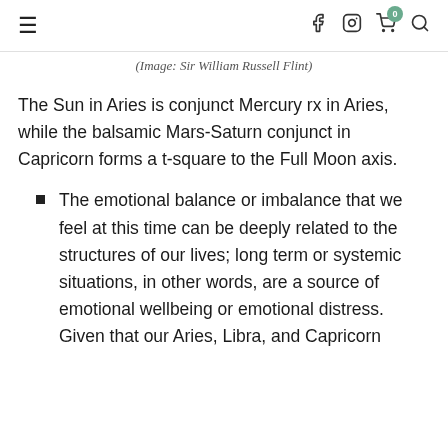≡  f  [instagram]  [cart 0]  [search]
(Image: Sir William Russell Flint)
The Sun in Aries is conjunct Mercury rx in Aries, while the balsamic Mars-Saturn conjunct in Capricorn forms a t-square to the Full Moon axis.
The emotional balance or imbalance that we feel at this time can be deeply related to the structures of our lives; long term or systemic situations, in other words, are a source of emotional wellbeing or emotional distress. Given that our Aries, Libra, and Capricorn